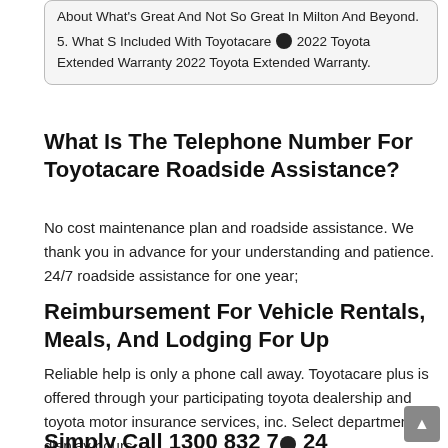About What's Great And Not So Great In Milton And Beyond.
5. What S Included With Toyotacare 2022 Toyota Extended Warranty 2022 Toyota Extended Warranty.
What Is The Telephone Number For Toyotacare Roadside Assistance?
No cost maintenance plan and roadside assistance. We thank you in advance for your understanding and patience. 24/7 roadside assistance for one year;
Reimbursement For Vehicle Rentals, Meals, And Lodging For Up
Reliable help is only a phone call away. Toyotacare plus is offered through your participating toyota dealership and toyota motor insurance services, inc. Select department to display hours.
Simply Call 1300 832 7 24 Hours A Day